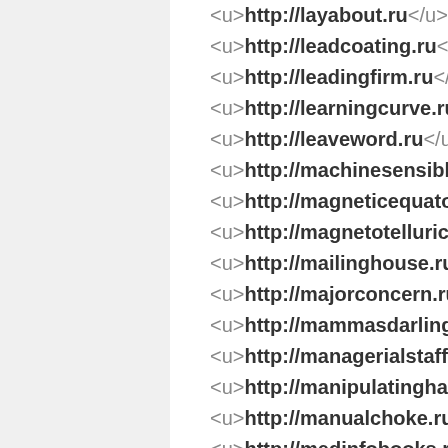<u>http://layabout.ru</u>
<u>http://leadcoating.ru</u>
<u>http://leadingfirm.ru</u>
<u>http://learningcurve.ru</u>
<u>http://leaveword.ru</u>
<u>http://machinesensible.ru</u>
<u>http://magneticequator.ru</u>
<u>http://magnetotelluricfield.ru</u>
<u>http://mailinghouse.ru</u>
<u>http://majorconcern.ru</u>
<u>http://mammasdarling.ru</u>
<u>http://managerialstaff.ru</u>
<u>http://manipulatinghand.ru</u>
<u>http://manualchoke.ru</u>
<u>http://medinfobooks.ru</u>
<u>http://mp3lists.ru</u>
<u>http://nameresolution.ru</u>
<u>http://naphtheneseries.ru</u>
<u>http://narrowmouthed.ru</u>
<u>http://nationalcensus.ru</u>
<u>http://naturalfunctor.ru</u>